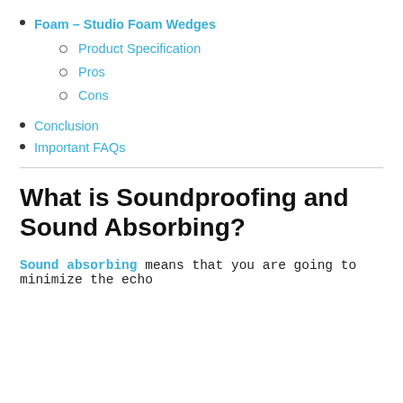Foam – Studio Foam Wedges
Product Specification
Pros
Cons
Conclusion
Important FAQs
What is Soundproofing and Sound Absorbing?
Sound absorbing means that you are going to minimize the echo